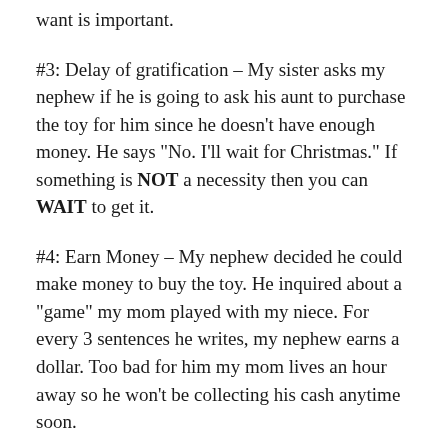want is important.
#3: Delay of gratification – My sister asks my nephew if he is going to ask his aunt to purchase the toy for him since he doesn’t have enough money. He says “No. I’ll wait for Christmas.” If something is NOT a necessity then you can WAIT to get it.
#4: Earn Money – My nephew decided he could make money to buy the toy. He inquired about a “game” my mom played with my niece. For every 3 sentences he writes, my nephew earns a dollar. Too bad for him my mom lives an hour away so he won’t be collecting his cash anytime soon.